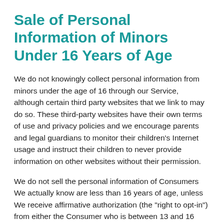Sale of Personal Information of Minors Under 16 Years of Age
We do not knowingly collect personal information from minors under the age of 16 through our Service, although certain third party websites that we link to may do so. These third-party websites have their own terms of use and privacy policies and we encourage parents and legal guardians to monitor their children's Internet usage and instruct their children to never provide information on other websites without their permission.
We do not sell the personal information of Consumers We actually know are less than 16 years of age, unless We receive affirmative authorization (the "right to opt-in") from either the Consumer who is between 13 and 16 years of age, or the parent or guardian of a Consumer less than 13 years of age. Consumers who opt-in to the sale of personal information may opt-out of future sales at any